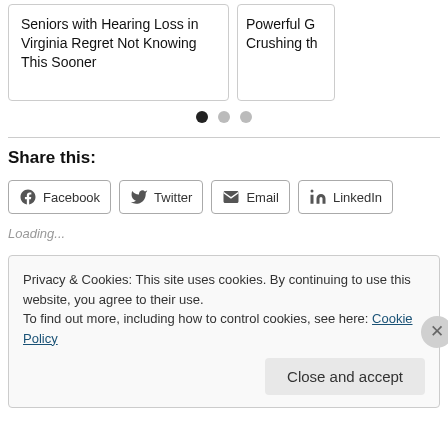Seniors with Hearing Loss in Virginia Regret Not Knowing This Sooner
Powerful G Crushing th
[Figure (other): Carousel pagination dots, three circles, first one filled black, others gray]
Share this:
Facebook
Twitter
Email
LinkedIn
Loading...
Privacy & Cookies: This site uses cookies. By continuing to use this website, you agree to their use.
To find out more, including how to control cookies, see here: Cookie Policy
Close and accept